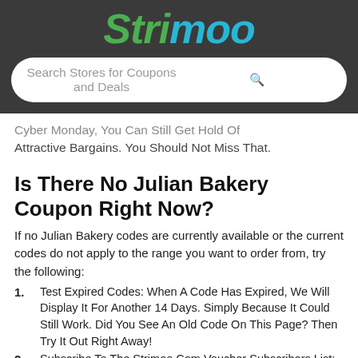Strimoo
Search Stores for Coupons and Deals
Cyber Monday, You Can Still Get Hold Of Attractive Bargains. You Should Not Miss That.
Is There No Julian Bakery Coupon Right Now?
If no Julian Bakery codes are currently available or the current codes do not apply to the range you want to order from, try the following:
Test Expired Codes: When A Code Has Expired, We Will Display It For Another 14 Days. Simply Because It Could Still Work. Did You See An Old Code On This Page? Then Try It Out Right Away!
Subscribe To The Strimoo.Com Voucher Subscribers List: Julian Bakery Is A Shop That Is Not Stingy With Discount Codes. So You Can Be Sure That The Next Julian Bakery Discount Will Be Published Soon. If You Don't Want To Miss It, Just Sign Up For Our